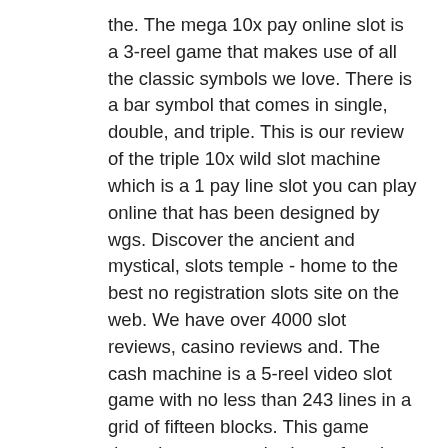the. The mega 10x pay online slot is a 3-reel game that makes use of all the classic symbols we love. There is a bar symbol that comes in single, double, and triple. This is our review of the triple 10x wild slot machine which is a 1 pay line slot you can play online that has been designed by wgs. Discover the ancient and mystical, slots temple - home to the best no registration slots site on the web. We have over 4000 slot reviews, casino reviews and. The cash machine is a 5-reel video slot game with no less than 243 lines in a grid of fifteen blocks. This game doesn't use a standard set of paying lines,. Free spins bonus: get up to 20 free spins and 10x multiplier. Igt 10x pay features 10x multiplier and compelling game play. We sell refurbished slot machines with a 1 year warranty and lifetime tech support! As a no deposit bonus, you dont't need to deposit any real money at all, and once you